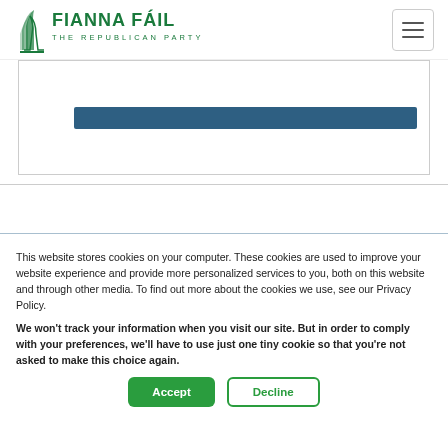Fianna Fáil – The Republican Party
[Figure (other): Dark blue horizontal bar inside a bordered white section, partial UI element]
This website stores cookies on your computer. These cookies are used to improve your website experience and provide more personalized services to you, both on this website and through other media. To find out more about the cookies we use, see our Privacy Policy.
We won't track your information when you visit our site. But in order to comply with your preferences, we'll have to use just one tiny cookie so that you're not asked to make this choice again.
Accept | Decline